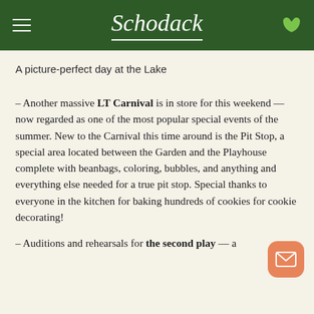Schodack
A picture-perfect day at the Lake
– Another massive LT Carnival is in store for this weekend — now regarded as one of the most popular special events of the summer. New to the Carnival this time around is the Pit Stop, a special area located between the Garden and the Playhouse complete with beanbags, coloring, bubbles, and anything and everything else needed for a true pit stop. Special thanks to everyone in the kitchen for baking hundreds of cookies for cookie decorating!
– Auditions and rehearsals for the second play — a